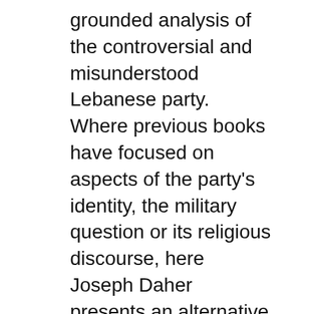grounded analysis of the controversial and misunderstood Lebanese party. Where previous books have focused on aspects of the party's identity, the military question or its religious discourse, here Joseph Daher presents an alternative perspective, built upon political economy.
The stories of Hezbollah's growth as a terrorist force in Europe and South America are gripping, as Levitt recounts the 1985 hijacking of TWA Flight 847, planned by Mohammed Hamadi, and Hezbollah's 1994 murderous bombing of an 5/09/2013 · To discuss the origin, current operations, and future of Hezbollah, The Washington Institute